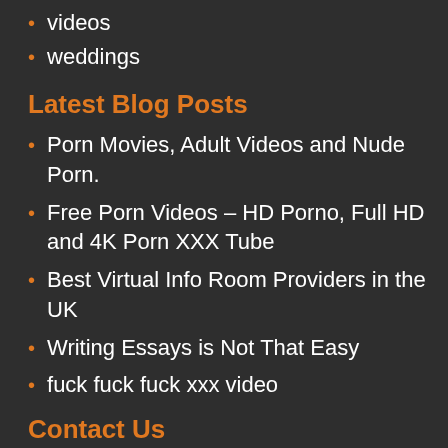videos
weddings
Latest Blog Posts
Porn Movies, Adult Videos and Nude Porn.
Free Porn Videos – HD Porno, Full HD and 4K Porn XXX Tube
Best Virtual Info Room Providers in the UK
Writing Essays is Not That Easy
fuck fuck fuck xxx video
Contact Us